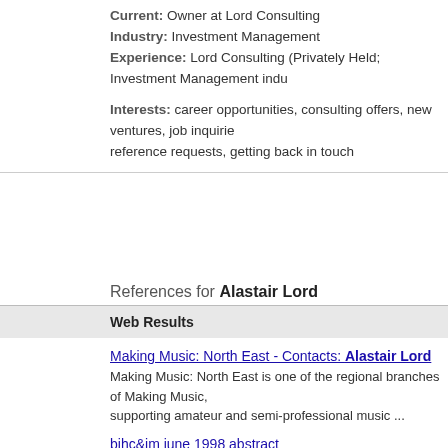Current: Owner at Lord Consulting
Industry: Investment Management
Experience: Lord Consulting (Privately Held; Investment Management indu...
Interests: career opportunities, consulting offers, new ventures, job inquiries, reference requests, getting back in touch
References for Alastair Lord
Web Results
Making Music: North East - Contacts: Alastair Lord
Making Music: North East is one of the regional branches of Making Music, supporting amateur and semi-professional music ...
bjhc&im june 1998 abstract
Alastair Lord shares his experiences on making information management a enjoyable. keywords: im&t procurement, information ...
Making Music: North East - Events